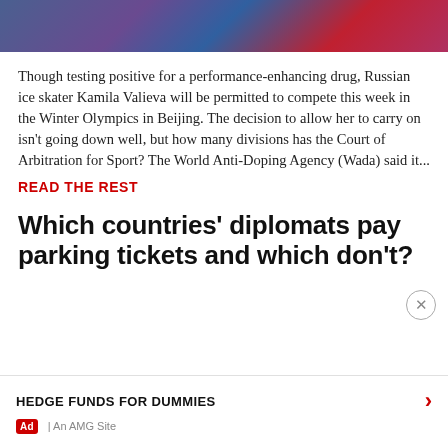[Figure (photo): Partial photo of ice skater(s) in colorful costumes, cropped at top of page]
Though testing positive for a performance-enhancing drug, Russian ice skater Kamila Valieva will be permitted to compete this week in the Winter Olympics in Beijing. The decision to allow her to carry on isn't going down well, but how many divisions has the Court of Arbitration for Sport? The World Anti-Doping Agency (Wada) said it...
READ THE REST
Which countries' diplomats pay parking tickets and which don't?
Report an ad
HEDGE FUNDS FOR DUMMIES
Ad | An AMG Site